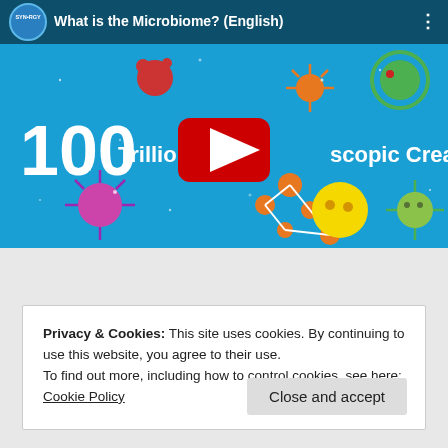[Figure (screenshot): YouTube video thumbnail showing 'What is the Microbiome? (English)' with microbe illustrations on a blue background, displaying '100 Trillion Microscopic Creatures' text and a red YouTube play button]
Privacy & Cookies: This site uses cookies. By continuing to use this website, you agree to their use.
To find out more, including how to control cookies, see here: Cookie Policy
Close and accept